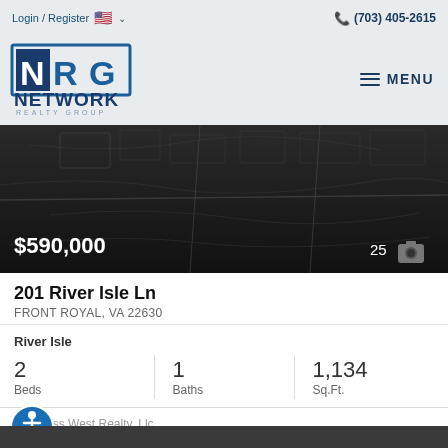Login / Register  (703) 405-2615
[Figure (logo): NRG Network Realty Group logo — blue square N, R, G letters with outlined rectangle; NETWORK in bold dark blue below; REALTY GROUP in spaced grey letters]
[Figure (screenshot): Dark aerial/map view of a river property area, used as property listing hero image]
$590,000
25 📷
201 River Isle Ln
FRONT ROYAL, VA 22630
River Isle
| Beds | Baths | Sq.Ft. |
| --- | --- | --- |
| 2 | 1 | 1,134 |
Compass West Realty, Llc